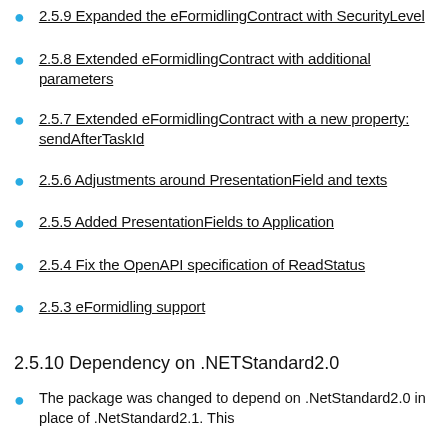2.5.9 Expanded the eFormidlingContract with SecurityLevel
2.5.8 Extended eFormidlingContract with additional parameters
2.5.7 Extended eFormidlingContract with a new property: sendAfterTaskId
2.5.6 Adjustments around PresentationField and texts
2.5.5 Added PresentationFields to Application
2.5.4 Fix the OpenAPI specification of ReadStatus
2.5.3 eFormidling support
2.5.10 Dependency on .NETStandard2.0
The package was changed to depend on .NetStandard2.0 in place of .NetStandard2.1. This